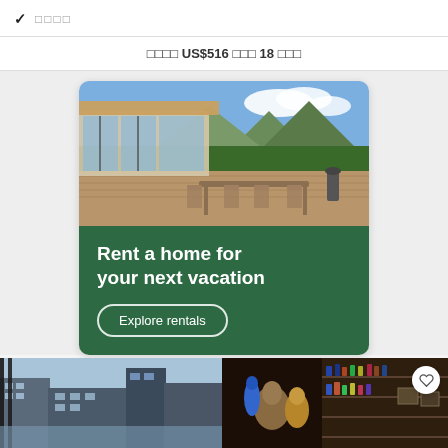✓ □□□□
□□□□ US$516 □□□ 18 □□□
[Figure (illustration): Vacation rental advertisement card with photo of outdoor deck with dining table and chairs, green mountain background, blue sky. Below photo: green banner with text 'Rent a home for your next vacation' and 'Explore rentals' button with rounded border.]
[Figure (photo): Bottom strip showing two hotel/property photos side by side. Left: exterior urban building view. Right: interior bar/lounge with sculptures and shelving with bottles.]